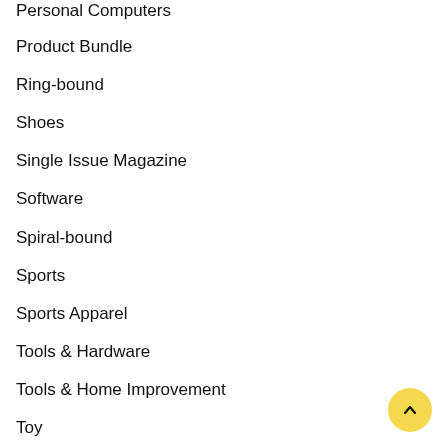Personal Computers
Product Bundle
Ring-bound
Shoes
Single Issue Magazine
Software
Spiral-bound
Sports
Sports Apparel
Tools & Hardware
Tools & Home Improvement
Toy